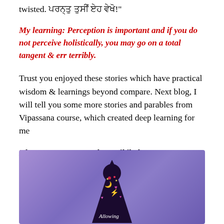twisted. [non-latin text]"
My learning: Perception is important and if you do not perceive holistically, you may go on a total tangent & err terribly.
Trust you enjoyed these stories which have practical wisdom & learnings beyond compare. Next blog, I will tell you some more stories and parables from Vipassana course, which created deep learning for me
Bhavatu Savv Mangalam: vikibaba punter
[Figure (illustration): Purple/violet gradient background with a dark wizard/mystical figure containing symbols like moon, lightning bolt, hearts, and the word 'Allowing' visible at bottom]